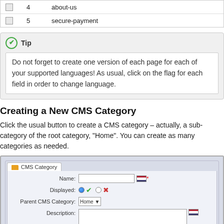|  | ID | Name |
| --- | --- | --- |
| ☐ | 4 | about-us |
| ☐ | 5 | secure-payment |
Tip
Do not forget to create one version of each page for each of your supported languages! As usual, click on the flag for each field in order to change language.
Creating a New CMS Category
Click the usual button to create a CMS category – actually, a sub-category of the root category, "Home". You can create as many categories as needed.
[Figure (screenshot): CMS Category form with fields: Name (text input with flag), Displayed (radio buttons with green check and red X), Parent CMS Category (dropdown showing Home), Description (textarea with flag)]